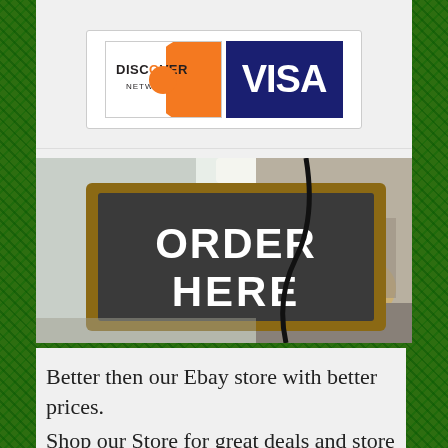[Figure (logo): Discover Network and Visa payment method logos side by side on white background]
[Figure (photo): A chalkboard sign hanging in a restaurant reading ORDER HERE in white text, with wooden frame, blurred background showing food items]
Better then our Ebay store with better prices.
Shop our Store for great deals and store...